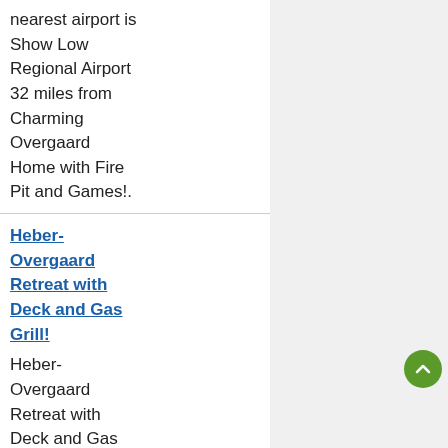nearest airport is Show Low Regional Airport 32 miles from Charming Overgaard Home with Fire Pit and Games!.
Heber-Overgaard Retreat with Deck and Gas Grill!
Heber-Overgaard Retreat with Deck and Gas Grill! is located